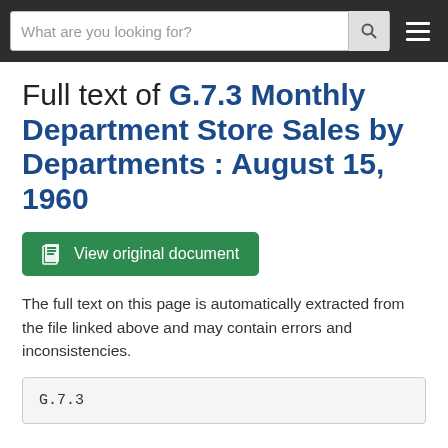What are you looking for?
Full text of G.7.3 Monthly Department Store Sales by Departments : August 15, 1960
[Figure (other): Green button: View original document]
The full text on this page is automatically extracted from the file linked above and may contain errors and inconsistencies.
G.7.3